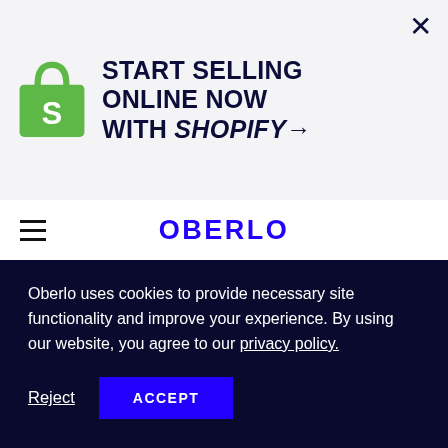[Figure (infographic): Shopify advertisement banner with green Shopify bag logo on left, bold uppercase text 'START SELLING ONLINE NOW WITH SHOPIFY→' in center, and X close button on right. Light gray background.]
OBERLO
[Figure (photo): Person sitting at outdoor table with laptop, iced drink, and cup. Green foliage background. Dark-toned photo.]
Oberlo uses cookies to provide necessary site functionality and improve your experience. By using our website, you agree to our privacy policy.
Reject  ACCEPT